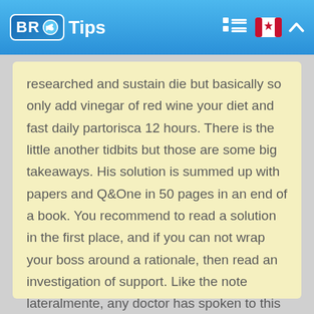BR Tips
researched and sustain die but basically so only add vinegar of red wine your diet and fast daily partorisca 12 hours. There is the little another tidbits but those are some big takeaways. His solution is summed up with papers and Q&One in 50 pages in an end of a book. You recommend to read a solution in the first place, and if you can not wrap your boss around a rationale, then read an investigation of support. Like the note lateralmente, any doctor has spoken to this is to read this book loves it.